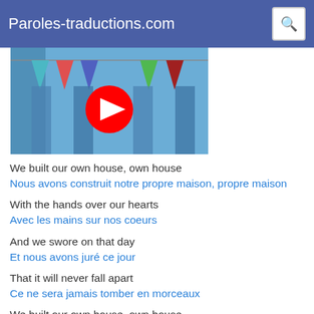Paroles-traductions.com
[Figure (screenshot): YouTube video thumbnail showing colorful pennant flags on a blue background with a red YouTube play button in the center]
We built our own house, own house
Nous avons construit notre propre maison, propre maison
With the hands over our hearts
Avec les mains sur nos coeurs
And we swore on that day
Et nous avons juré ce jour
That it will never fall apart
Ce ne sera jamais tomber en morceaux
We built our own house, own house
Nous avons construit notre propre maison, propre maison
With the hands over our hearts
Avec les mains sur nos coeurs